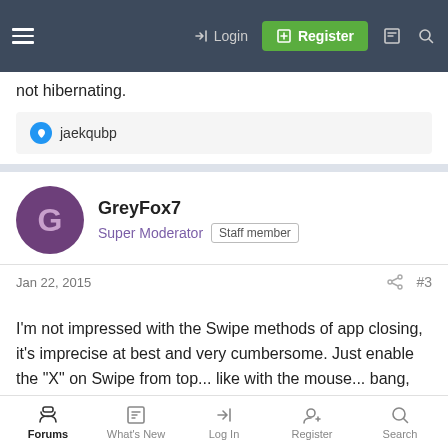Login | Register
not hibernating.
jaekqubp
GreyFox7
Super Moderator  Staff member
Jan 22, 2015  #3
I'm not impressed with the Swipe methods of app closing, it's imprecise at best and very cumbersome. Just enable the "X" on Swipe from top... like with the mouse... bang, bang done.

Swipe drag, hold, wait... its a bunch of horse hockey. Simplicity folks. Make it as simple as possible, that was the advice of
Forums  What's New  Log In  Register  Search